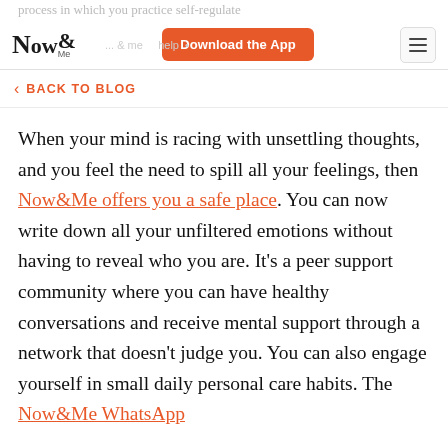Now&Me | Download the App
BACK TO BLOG
When your mind is racing with unsettling thoughts, and you feel the need to spill all your feelings, then Now&Me offers you a safe place. You can now write down all your unfiltered emotions without having to reveal who you are. It's a peer support community where you can have healthy conversations and receive mental support through a network that doesn't judge you. You can also engage yourself in small daily personal care habits. The Now&Me WhatsApp